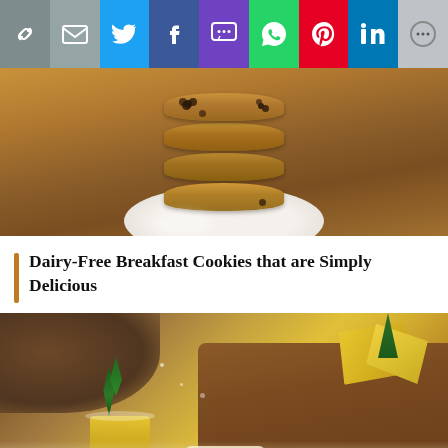[Figure (other): Social media share bar with icons: link, email, Twitter, Facebook, SMS, WhatsApp, Pinterest, LinkedIn, More]
[Figure (photo): Stack of oatmeal breakfast cookies with chocolate chips on a white plate, close-up food photography]
Dairy-Free Breakfast Cookies that are Simply Delicious
[Figure (photo): Tropical smoothie with pineapple slices on wooden board and coconut, with yellow smoothie drinks at bottom]